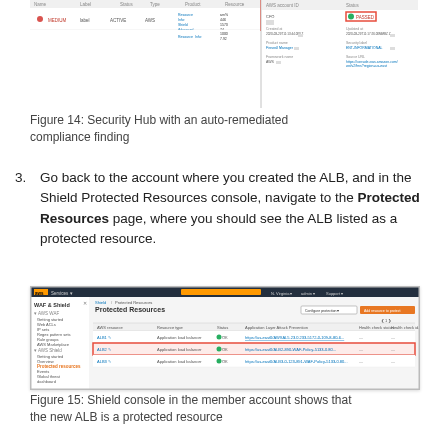[Figure (screenshot): Security Hub console screenshot showing an auto-remediated compliance finding with a red-highlighted row and details panel on the right showing status fields]
Figure 14: Security Hub with an auto-remediated compliance finding
3. Go back to the account where you created the ALB, and in the Shield Protected Resources console, navigate to the Protected Resources page, where you should see the ALB listed as a protected resource.
[Figure (screenshot): AWS Shield console screenshot showing the Protected Resources page in the member account with three ALB entries listed, the second row highlighted in red indicating the new ALB protected resource]
Figure 15: Shield console in the member account shows that the new ALB is a protected resource